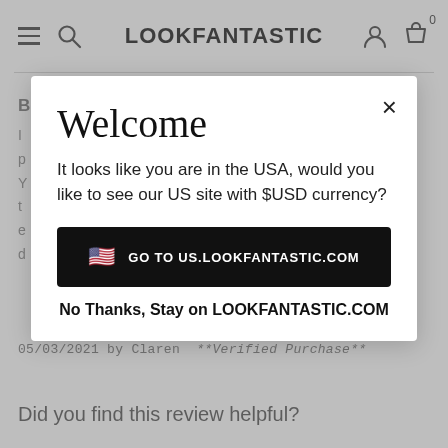LOOKFANTASTIC
05/03/2021 by Claren  **Verified Purchase**
Did you find this review helpful?
Welcome
It looks like you are in the USA, would you like to see our US site with $USD currency?
GO TO US.LOOKFANTASTIC.COM
No Thanks, Stay on LOOKFANTASTIC.COM